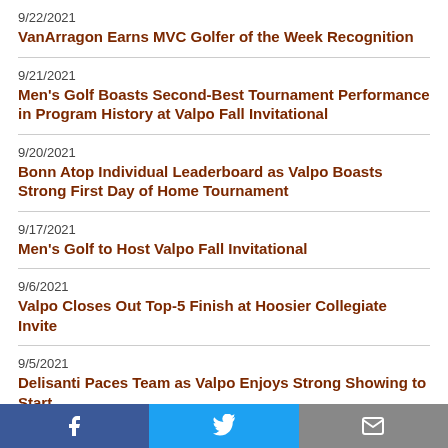9/22/2021
VanArragon Earns MVC Golfer of the Week Recognition
9/21/2021
Men's Golf Boasts Second-Best Tournament Performance in Program History at Valpo Fall Invitational
9/20/2021
Bonn Atop Individual Leaderboard as Valpo Boasts Strong First Day of Home Tournament
9/17/2021
Men's Golf to Host Valpo Fall Invitational
9/6/2021
Valpo Closes Out Top-5 Finish at Hoosier Collegiate Invite
9/5/2021
Delisanti Paces Team as Valpo Enjoys Strong Showing to Start